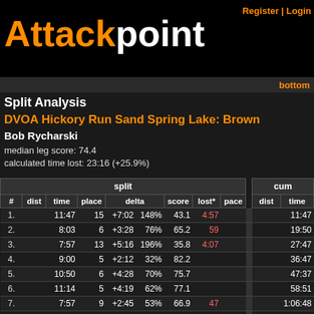Attackpoint
Register | Login
bottom
Split Analysis
DVOA Hickory Run Sand Spring Lake: Brown
Bob Rycharski
median leg score: 74.4
calculated time lost: 23:16 (+25.9%)
| # | dist | time | place | delta |  | score | lost* | pace |  | dist | time |
| --- | --- | --- | --- | --- | --- | --- | --- | --- | --- | --- | --- |
| 1. |  | 11:47 | 15 | +7:02 | 148% | 43.1 | 4:57 |  |  |  | 11:47 |
| 2. |  | 8:03 | 6 | +3:28 | 76% | 65.2 | 59 |  |  |  | 19:50 |
| 3. |  | 7:57 | 13 | +5:16 | 196% | 35.8 | 4:07 |  |  |  | 27:47 |
| 4. |  | 9:00 | 5 | +2:12 | 32% | 82.2 |  |  |  |  | 36:47 |
| 5. |  | 10:50 | 6 | +4:28 | 70% | 75.7 |  |  |  |  | 47:37 |
| 6. |  | 11:14 | 5 | +4:19 | 62% | 77.1 |  |  |  |  | 58:51 |
| 7. |  | 7:57 | 9 | +2:45 | 53% | 66.9 | 47 |  |  |  | 1:06:48 |
| 8. |  | 12:08 | 7 | +6:16 | 107% | 59.8 | 2:22 |  |  |  | 1:18:56 |
| 9. |  | 5:38 | 6 | +1:38 | 41% | 78.4 |  |  |  |  | 1:24:34 |